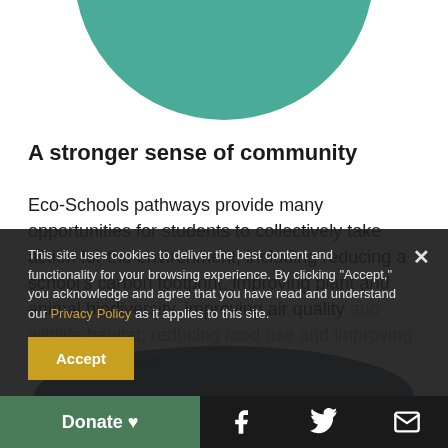[Figure (illustration): Teal green circle, partially cropped at the top of the page]
A stronger sense of community
Eco-Schools pathways provide many opportunities for students to collectively take action for the environment, including reducing a school's carbon footprint, improving plant and animal biodiversity, improving air quality and wildlife habitat, reducing food use and improving watershed health.
This site uses cookies to deliver the best content and functionality for your browsing experience. By clicking "Accept," you acknowledge and agree that you have read and understand our Privacy Policy as it applies to this site.
Accept
Donate ♥